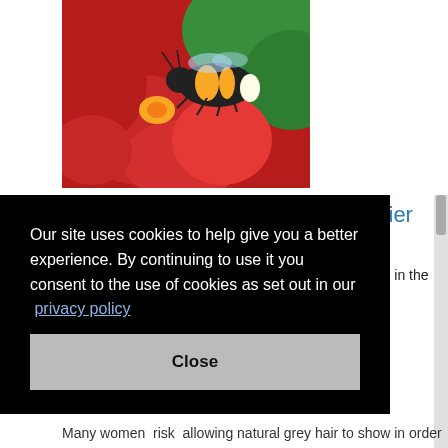[Figure (photo): A bumblebee on a red dahlia flower with green background]
Large bumblebees start work earlier
Larger bumblebees are more likely to go out foraging in the low light of dawn, new research shows.
Read story >
Our site uses cookies to help give you a better experience. By continuing to use it you consent to the use of cookies as set out in our  privacy policy
Close
Many women  risk  allowing natural grey hair to show in order